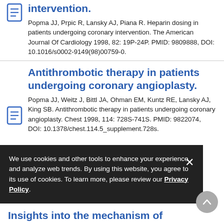intervention.
Popma JJ, Prpic R, Lansky AJ, Piana R. Heparin dosing in patients undergoing coronary intervention. The American Journal Of Cardiology 1998, 82: 19P-24P. PMID: 9809888, DOI: 10.1016/s0002-9149(98)00759-0.
Antithrombotic therapy in patients undergoing coronary angioplasty.
Popma JJ, Weitz J, Bittl JA, Ohman EM, Kuntz RE, Lansky AJ, King SB. Antithrombotic therapy in patients undergoing coronary angioplasty. Chest 1998, 114: 728S-741S. PMID: 9822074, DOI: 10.1378/chest.114.5_supplement.728s.
We use cookies and other tools to enhance your experience and analyze web trends. By using this website, you agree to its use of cookies. To learn more, please review our Privacy Policy.
Insights into the mechanism of